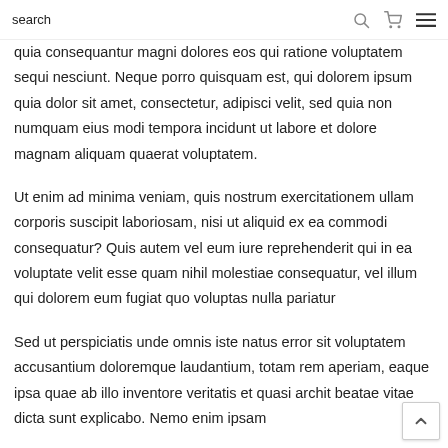search
quia consequantur magni dolores eos qui ratione voluptatem sequi nesciunt. Neque porro quisquam est, qui dolorem ipsum quia dolor sit amet, consectetur, adipisci velit, sed quia non numquam eius modi tempora incidunt ut labore et dolore magnam aliquam quaerat voluptatem.
Ut enim ad minima veniam, quis nostrum exercitationem ullam corporis suscipit laboriosam, nisi ut aliquid ex ea commodi consequatur? Quis autem vel eum iure reprehenderit qui in ea voluptate velit esse quam nihil molestiae consequatur, vel illum qui dolorem eum fugiat quo voluptas nulla pariatur
Sed ut perspiciatis unde omnis iste natus error sit voluptatem accusantium doloremque laudantium, totam rem aperiam, eaque ipsa quae ab illo inventore veritatis et quasi archit beatae vitae dicta sunt explicabo. Nemo enim ipsam